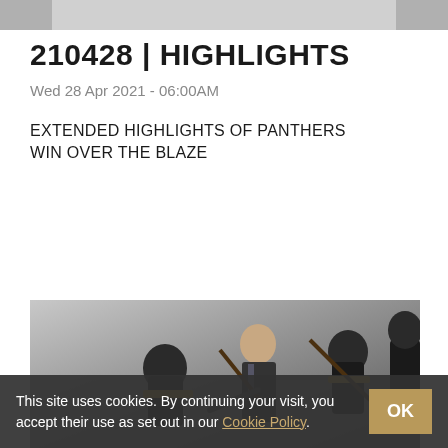[Figure (photo): Top partial image bar, cropped from previous article]
210428 | HIGHLIGHTS
Wed 28 Apr 2021 - 06:00AM
EXTENDED HIGHLIGHTS OF PANTHERS WIN OVER THE BLAZE
READ MORE
[Figure (photo): Ice hockey players and coach on the bench, black and gold uniforms]
This site uses cookies. By continuing your visit, you accept their use as set out in our Cookie Policy.